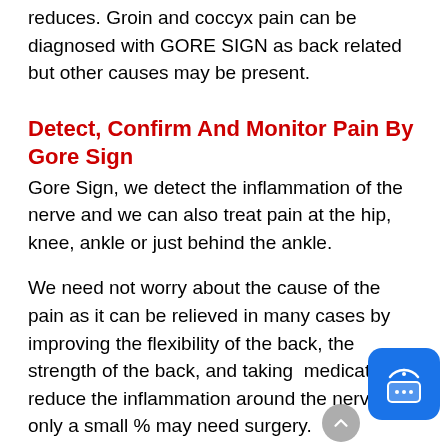reduces. Groin and coccyx pain can be diagnosed with GORE SIGN as back related but other causes may be present.
Detect, Confirm And Monitor Pain By Gore Sign
Gore Sign, we detect the inflammation of the nerve and we can also treat pain at the hip, knee, ankle or just behind the ankle.
We need not worry about the cause of the pain as it can be relieved in many cases by improving the flexibility of the back, the strength of the back, and taking  medication to reduce the inflammation around the nerve. only a small % may need surgery.